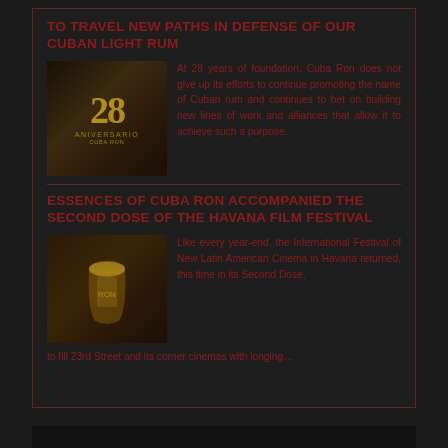TO TRAVEL NEW PATHS IN DEFENSE OF OUR CUBAN LIGHT RUM
[Figure (photo): 28th anniversary image with golden '28' and 'ANIVERSARIO' text on dark background]
At 28 years of foundation, Cuba Ron does not give up its efforts to continue promoting the name of Cuban rum and continues to bet on building new lines of work and alliances that allow it to achieve such a purpose.
ESSENCES OF CUBA RON ACCOMPANIED THE SECOND DOSE OF THE HAVANA FILM FESTIVAL
[Figure (photo): Close-up photo of rum glass or cocktail with rum bottle]
Like every year-end, the International Festival of New Latin American Cinema in Havana returned, this time in its Second Dose, to fill 23rd Street and its corner cinemas with longing…